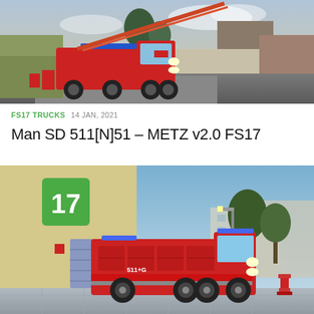[Figure (screenshot): Screenshot of a fire truck simulation game showing a red MAN fire truck with a raised ladder in a suburban/industrial environment at dusk]
FS17 TRUCKS  14 JAN, 2021
Man SD 511[N]51 – METZ v2.0 FS17
[Figure (screenshot): Screenshot of a fire truck simulation game showing a red Scania fire engine (labeled 511+G) parked in front of a fire station garage with the number 17 on a green sign, in a suburban environment]